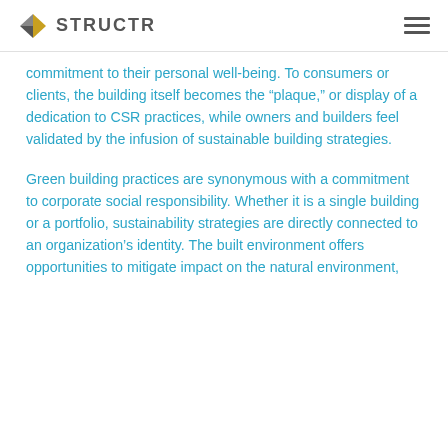STRUCTR
commitment to their personal well-being. To consumers or clients, the building itself becomes the "plaque," or display of a dedication to CSR practices, while owners and builders feel validated by the infusion of sustainable building strategies.
Green building practices are synonymous with a commitment to corporate social responsibility. Whether it is a single building or a portfolio, sustainability strategies are directly connected to an organization's identity. The built environment offers opportunities to mitigate impact on the natural environment,